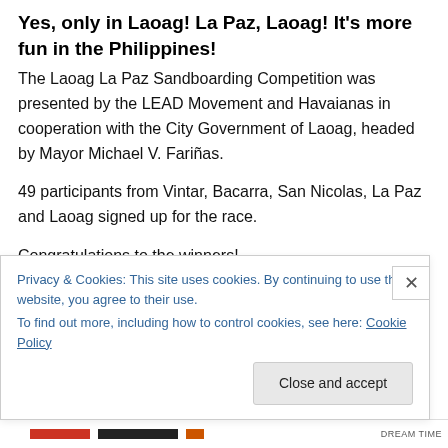Yes, only in Laoag! La Paz, Laoag! It's more fun in the Philippines!
The Laoag La Paz Sandboarding Competition was presented by the LEAD Movement and Havaianas in cooperation with the City Government of Laoag, headed by Mayor Michael V. Fariñas.
49 participants from Vintar, Bacarra, San Nicolas, La Paz and Laoag signed up for the race.
Congratulations to the winners!
Freestyle Category:
Privacy & Cookies: This site uses cookies. By continuing to use this website, you agree to their use.
To find out more, including how to control cookies, see here: Cookie Policy